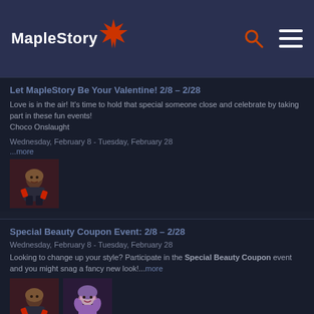MapleStory
Let MapleStory Be Your Valentine! 2/8 – 2/28
Love is in the air! It's time to hold that special someone close and celebrate by taking part in these fun events!
Choco Onslaught
Wednesday, February 8 - Tuesday, February 28
...more
[Figure (photo): Game character thumbnail image]
Special Beauty Coupon Event: 2/8 – 2/28
Wednesday, February 8 - Tuesday, February 28
Looking to change up your style? Participate in the Special Beauty Coupon event and you might snag a fancy new look!...more
[Figure (photo): Two game character thumbnail images]
MapleStory Network Maintenance – Feb 7, 2017
We will be working on our MapleStory North America network on Tuesday, February 7, 2017 at 11:30 PM PST (2:30 AM EST / 8:30 AM CET / 6:30 PM AEDT). We anticipate the